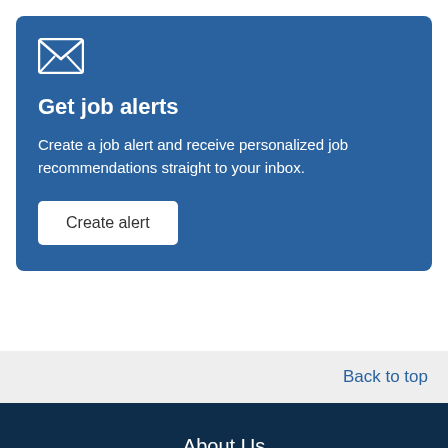[Figure (illustration): Envelope/mail icon in white outline style on blue background]
Get job alerts
Create a job alert and receive personalized job recommendations straight to your inbox.
Create alert
Back to top
About Us
Contact Us